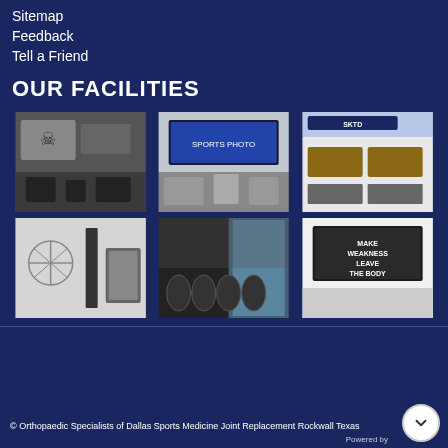Sitemap
Feedback
Tell a Friend
OUR FACILITIES
[Figure (photo): Interior of sports medicine / orthopedic facility room 1 - wall art with skull graphic, treatment chairs and equipment on grey wall]
[Figure (photo): Interior of sports medicine facility room 2 - large sports photo/TV screen mounted on wall, reception desk area]
[Figure (photo): Interior of sports medicine facility room 3 - large open treatment area with multiple treatment tables, SKLD banner on ceiling]
[Figure (photo): Interior of sports medicine facility room 4 - Vitruvian man wall art, door and hallway visible]
[Figure (photo): Interior of sports medicine facility gym room 5 - exercise bikes and gym equipment with large windows]
[Figure (photo): Interior of sports medicine facility room 6 - motivational banner reading 'Make Weakness Leave The Body']
© Orthopaedic Specialists of Dallas Sports Medicine Joint Replacement Rockwall Texas
Powered by